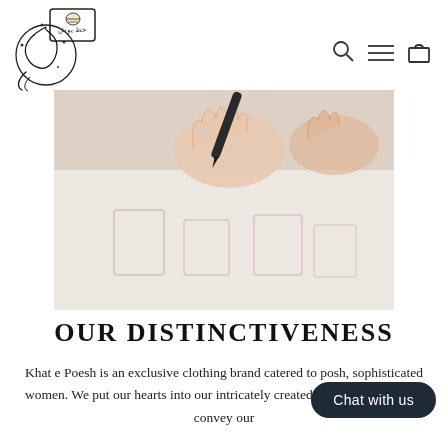[Figure (logo): Khat e Poesh brand logo: a circular decorative design with Arabic/Persian script and ornamental elements, plus a tag/label icon in the top right]
[Figure (photo): Close-up photo of hands holding a marker/pen drawing or sketching fashion designs on white paper]
OUR DISTINCTIVENESS
Khat e Poesh is an exclusive clothing brand catered to posh, sophisticated women. We put our hearts into our intricately created designs and hope to convey our sentiments through our work. Each outfit we create is a work of